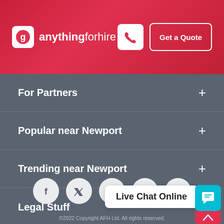[Figure (logo): anythingforhire logo with phone icon and Get a Quote button in red gradient header]
For Partners +
Popular near Newport +
Trending near Newport +
Legal Stuff +
[Figure (infographic): Social media icons: Facebook, Twitter, Instagram, LinkedIn, YouTube]
Live Chat Online
©2022 Copyright AFH Ltd. All rights reserved.